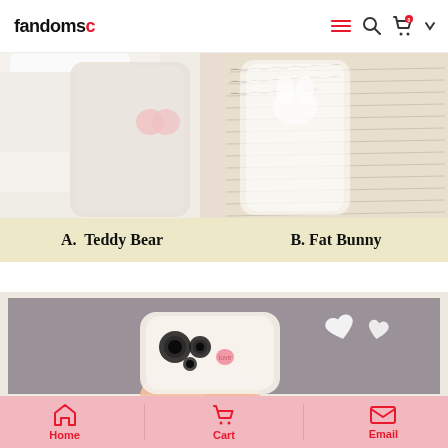fandomo — navigation header with menu, search, cart icons
[Figure (photo): Product photo showing two phone cases: A. Teddy Bear (left, clear case with teddy bear accessory) and B. Fat Bunny (right, clear case on book background)]
A.  Teddy Bear     B. Fat Bunny
[Figure (photo): Product photo showing a clear iPhone case with pink heart charm being held in hand, with white heart decorations visible on gray background]
Home  Cart  Email